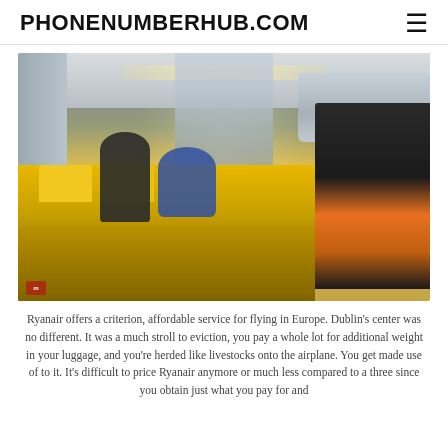PHONENUMBERHUB.COM
[Figure (photo): Interior of a Ryanair airplane cabin showing yellow seats, overhead bins, a crew member in blue uniform, and a passenger with an orange backpack standing in the aisle.]
Ryanair offers a criterion, affordable service for flying in Europe. Dublin's center was no different. It was a much stroll to eviction, you pay a whole lot for additional weight in your luggage, and you're herded like livestocks onto the airplane. You get made use of to it. It's difficult to price Ryanair anymore or much less compared to a three since you obtain just what you pay for and